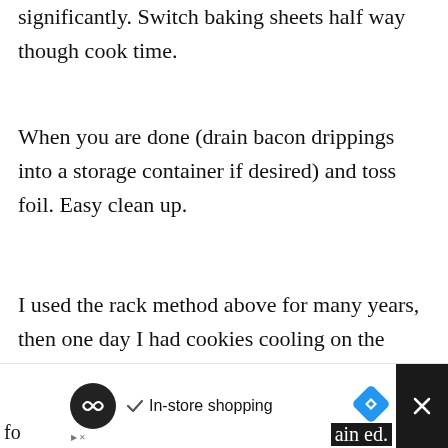significantly. Switch baking sheets half way though cook time.
When you are done (drain bacon drippings into a storage container if desired) and toss foil. Easy clean up.
I used the rack method above for many years, then one day I had cookies cooling on the baking racks and wanted to make bacon. So, I tried other methods. I tried baking it flat on parchment and
[Figure (screenshot): Share icon button overlay (white circle with share icon)]
[Figure (infographic): WHAT'S NEXT widget showing Rosemary Air Fryer Potatoes with thumbnail image]
[Figure (screenshot): Bottom advertisement bar: Loop/Infinity ad icon, checkmark with 'In-store shopping' text, blue diamond navigation icon, and dark close button with X]